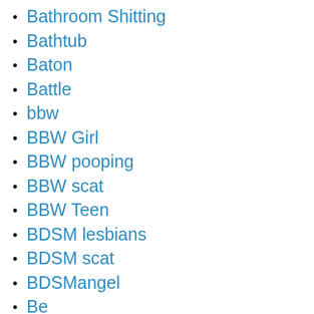Bathroom Shitting
Bathtub
Baton
Battle
bbw
BBW Girl
BBW pooping
BBW scat
BBW Teen
BDSM lesbians
BDSM scat
BDSMangel
Be
be poops!
bea
Beads